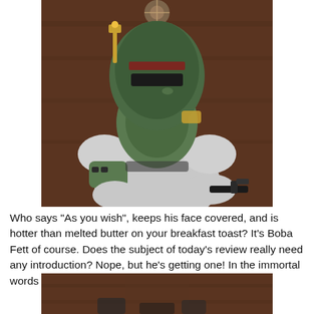[Figure (photo): Close-up photo of a Boba Fett action figure with green armor, white suit, and holding a blaster gun, posed against a dark brown wooden background.]
Who says "As you wish", keeps his face covered, and is hotter than melted butter on your breakfast toast? It's Boba Fett of course. Does the subject of today's review really need any introduction? Nope, but he's getting one! In the immortal words of mc chris:
[Figure (photo): Partial photo showing the bottom portion of the Boba Fett action figure, cropped at the bottom of the page.]